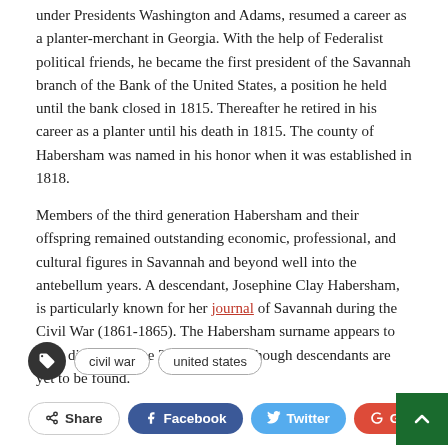under Presidents Washington and Adams, resumed a career as a planter-merchant in Georgia. With the help of Federalist political friends, he became the first president of the Savannah branch of the Bank of the United States, a position he held until the bank closed in 1815. Thereafter he retired in his career as a planter until his death in 1815. The county of Habersham was named in his honor when it was established in 1818.
Members of the third generation Habersham and their offspring remained outstanding economic, professional, and cultural figures in Savannah and beyond well into the antebellum years. A descendant, Josephine Clay Habersham, is particularly known for her journal of Savannah during the Civil War (1861-1865). The Habersham surname appears to have died out in the 20th century, although descendants are yet to be found.
Tags: civil war, united states
Share | Facebook | Twitter | Google+